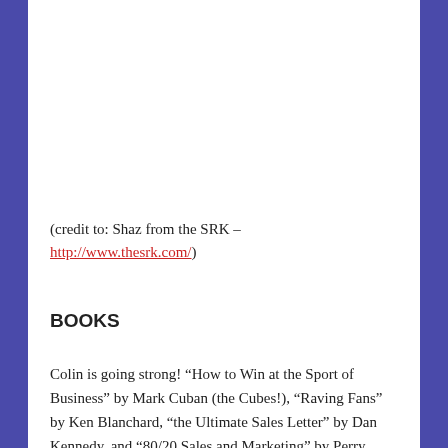(credit to: Shaz from the SRK – http://www.thesrk.com/)
BOOKS
Colin is going strong! “How to Win at the Sport of Business” by Mark Cuban (the Cubes!), “Raving Fans” by Ken Blanchard, “the Ultimate Sales Letter” by Dan Kennedy, and “80/20 Sales and Marketing” by Perry Marshall...